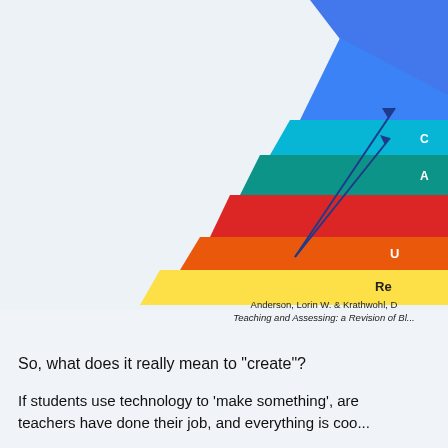[Figure (infographic): Bloom's Taxonomy pyramid (partially visible, right side cut off). Pyramid shows colored tiers from bottom: yellow (Re...), orange (U...), red (middle tier), teal (A...), cyan (C...), blue (top tier). Two arrows pointing to the top two tiers. Blue background at top right.]
Anderson, Lorin W. & Krathwohl, D
Teaching and Assessing: a Revision of Bl...
So, what does it really mean to "create"?
If students use technology to 'make something', are teachers have done their job, and everything is coo...